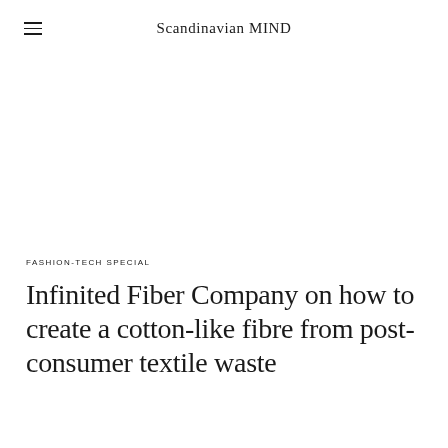Scandinavian MIND
FASHION-TECH SPECIAL
Infinited Fiber Company on how to create a cotton-like fibre from post-consumer textile waste